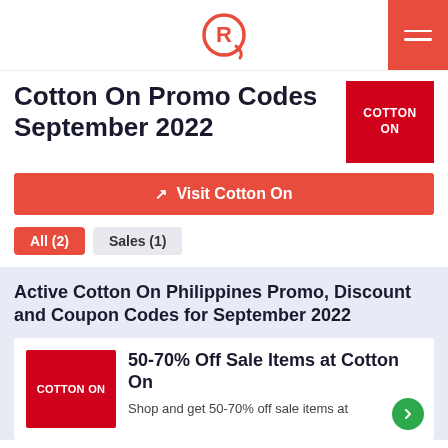Rappler (logo) — navigation header with hamburger menu
Cotton On Promo Codes September 2022
[Figure (logo): Cotton On red square logo badge with white text 'COTTON ON']
Visit Cotton On
All (2)
Sales (1)
Active Cotton On Philippines Promo, Discount and Coupon Codes for September 2022
[Figure (logo): Cotton On red square logo badge with white text 'COTTON ON']
50-70% Off Sale Items at Cotton On
Shop and get 50-70% off sale items at